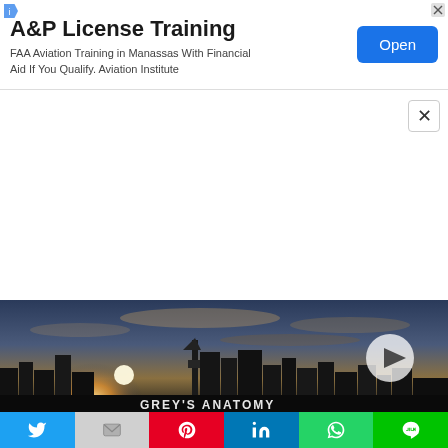[Figure (screenshot): Advertisement banner: A&P License Training. FAA Aviation Training in Manassas With Financial Aid If You Qualify. Aviation Institute. Blue Open button on right.]
[Figure (screenshot): White blank content area with an X close button in the top right corner.]
[Figure (photo): City skyline at sunset with the Seattle Space Needle visible, dramatic sky with orange and blue tones. Grey's Anatomy show title text visible at bottom. A white play triangle button overlaid on the right side.]
[Figure (screenshot): Social media sharing bar at bottom: Twitter (blue), Gmail (gray), Pinterest (red), LinkedIn (blue), WhatsApp (green), Line (green).]